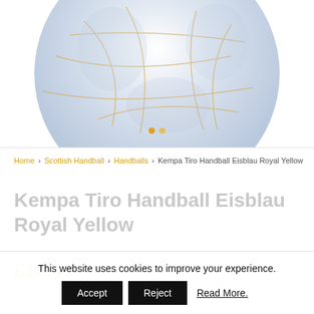[Figure (photo): Partial view of a handball (Kempa Tiro Handball Eisblau Royal Yellow) shown from above, light blue/white with gold seams, cropped at the top of the page]
Home › Scottish Handball › Handballs › Kempa Tiro Handball Eisblau Royal Yellow
Kempa Tiro Handball Eisblau Royal Yellow
£13.49
This website uses cookies to improve your experience. Accept Reject Read More.